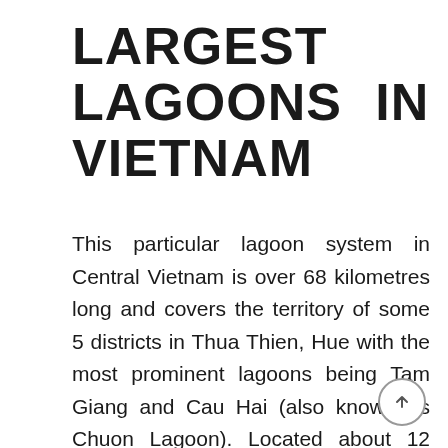LARGEST BRACKISH LAGOONS IN VIETNAM
This particular lagoon system in Central Vietnam is over 68 kilometres long and covers the territory of some 5 districts in Thua Thien, Hue with the most prominent lagoons being Tam Giang and Cau Hai (also known as Chuon Lagoon). Located about 12 kilometres from Hue City Center, Tam Giang Lagoon is about 25 kilometres long with a surface area of about 52 square kilometres, stretching from the O Lau River to Thuan An Bridge and converging with the East Sea via the Thuan An Estuary. It is famous for being the largest brackish lagoon in Southeast Asia. Chuon Lagoon is located about 10 kilometres from Hue City Centre and by following Highway 49